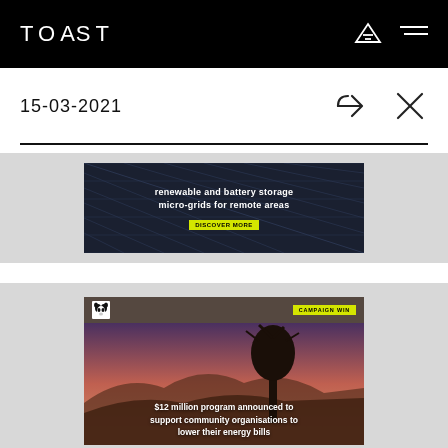TOAST
15-03-2021
[Figure (screenshot): Social media post showing solar panels with text 'renewable and battery storage micro-grids for remote areas' and a yellow badge]
[Figure (screenshot): WWF campaign social media post showing a baobab tree landscape at sunset with text '$12 million program announced to support community organisations to lower their energy bills' and a yellow CAMPAIGN WIN badge]